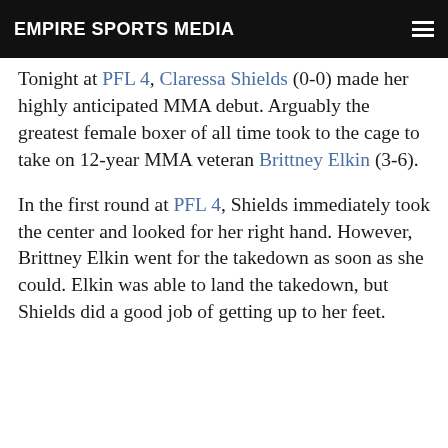EMPIRE SPORTS MEDIA
Tonight at PFL 4, Claressa Shields (0-0) made her highly anticipated MMA debut. Arguably the greatest female boxer of all time took to the cage to take on 12-year MMA veteran Brittney Elkin (3-6).
In the first round at PFL 4, Shields immediately took the center and looked for her right hand. However, Brittney Elkin went for the takedown as soon as she could. Elkin was able to land the takedown, but Shields did a good job of getting up to her feet.